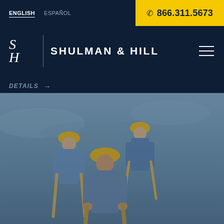ENGLISH  ESPAÑOL  866.311.5673
SHULMAN & HILL
DETAILS →
[Figure (photo): Construction workers wearing yellow hard hats and blue work shirts, viewed from behind, carrying wooden poles or ladders against a blue-grey sky background.]